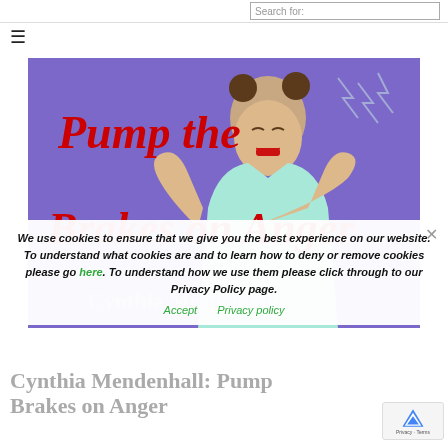Search for:
[Figure (illustration): Hamburger menu icon (three horizontal lines) in top-left corner]
[Figure (photo): Book cover image on purple background showing a woman with an exasperated expression, hands raised, with red script text 'Pump the Brakes on Anger' and author name 'Cynthia Mendenhall' overlaid. Lightning bolt graphics in upper right corner.]
We use cookies to ensure that we give you the best experience on our website. To understand what cookies are and to learn how to deny or remove cookies please go here. To understand how we use them please click through to our Privacy Policy page.
Accept   Privacy policy
Cynthia Mendenhall: Pump Brakes on Anger